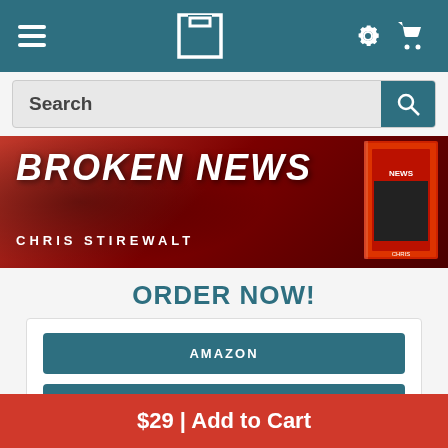Navigation bar with hamburger menu, H logo, settings and cart icons
Search
[Figure (screenshot): Book banner for 'Broken News' by Chris Stirewalt on a dark red background with book cover image]
ORDER NOW!
AMAZON
BARNES & NOBLE
$29 | Add to Cart